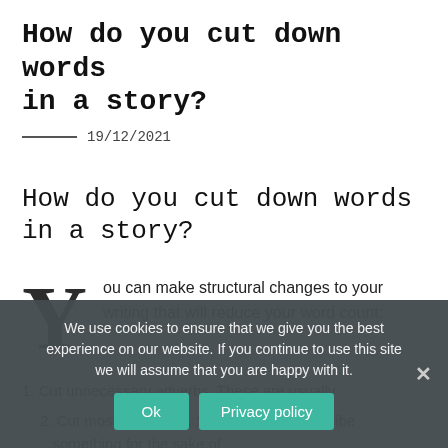How do you cut down words in a story?
19/12/2021
How do you cut down words in a story?
You can make structural changes to your writing that will reduce your word count:
1. Cut unnecessary adverbs. These are usually
2. Cut most adjectives. Sometimes we describe something for the sake of
We use cookies to ensure that we give you the best experience on our website. If you continue to use this site we will assume that you are happy with it.